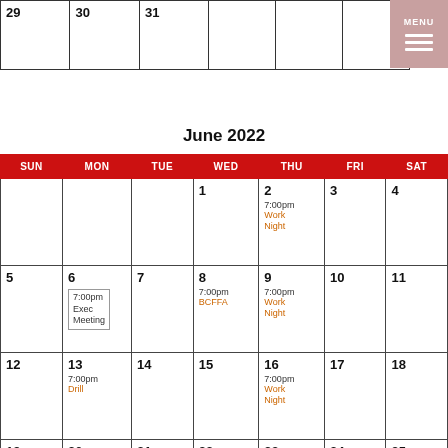|  |  |  |  |  |  |  |
| --- | --- | --- | --- | --- | --- | --- |
| 29 | 30 | 31 |  |  |  |  |
June 2022
| SUN | MON | TUE | WED | THU | FRI | SAT |
| --- | --- | --- | --- | --- | --- | --- |
|  |  |  | 1 | 2
7:00pm
Work Night | 3 | 4 |
| 5 | 6
7:00pm Exec Meeting | 7 | 8
7:00pm
BCFFA | 9
7:00pm
Work Night | 10 | 11 |
| 12 | 13
7:00pm
Drill | 14 | 15 | 16
7:00pm
Work Night | 17 | 18 |
| 19 | 20 | 21 | 22 | 23 | 24 | 25 |